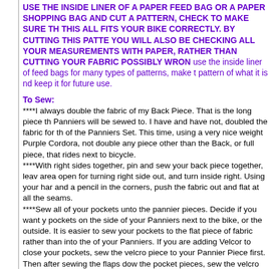USE THE INSIDE LINER OF A PAPER FEED BAG OR A PAPER SHOPPING BAG AND CUT A PATTERN, CHECK TO MAKE SURE THIS ALL FITS YOUR BIKE CORRECTLY. BY CUTTING THIS PATTERN YOU WILL ALSO BE CHECKING ALL YOUR MEASUREMENTS WITH PAPER, RATHER THAN CUTTING YOUR FABRIC POSSIBLY WRONG. use the inside liner of feed bags for many types of patterns, make the pattern of what it is nd keep it for future use.
To Sew:
****I always double the fabric of my Back Piece. That is the long piece the Panniers will be sewed to. I have and have not, doubled the fabric for the of the Panniers Set. This time, using a very nice weight Purple Cordora, not double any piece other than the Back, or full piece, that rides next to bicycle.
****With right sides together, pin and sew your back piece together, leave area open for turning right side out, and turn inside right. Using your hand and a pencil in the corners, push the fabric out and flat at all the seams.
****Sew all of your pockets unto the pannier pieces. Decide if you want pockets on the side of your Panniers next to the bike, or the outside. It is easier to sew your pockets to the flat piece of fabric rather than into the of your Panniers. If you are adding Velcor to close your pockets, sew the velcro piece to your Pannier Piece first. Then after sewing the flaps down the pocket pieces, sew the velcro on it it. Press the velcro pieces together the edges and sew your pocket pieces down to your Panniers. Be creative sew all the pockets in your Panniers to match what your are carrying. Have one at the very bottom for cash. Have fun with deciding on your pockets.
****If you are adding Webbing, for tying unto, on or to the outside of your Panniers, sew the webbing on before you sew your Panniers together to Yoke.
****I sew on my Handle before the Panniers are sewn on. I use the bo